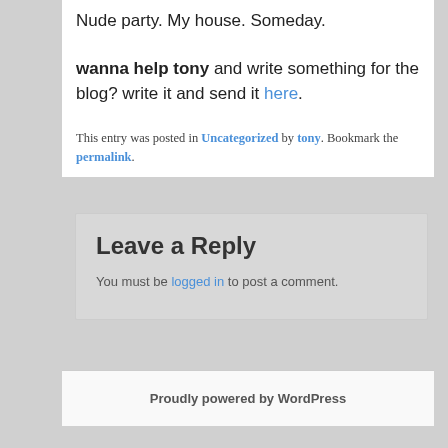Nude party. My house. Someday.
wanna help tony and write something for the blog? write it and send it here.
This entry was posted in Uncategorized by tony. Bookmark the permalink.
Leave a Reply
You must be logged in to post a comment.
Proudly powered by WordPress